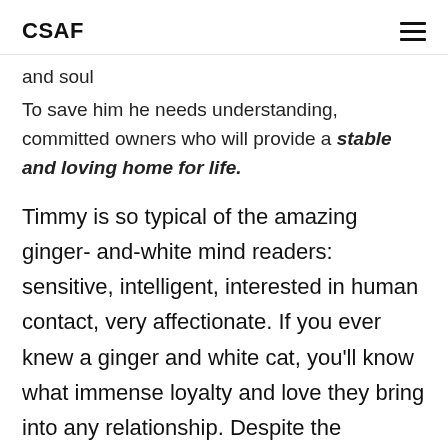CSAF
and soul
To save him he needs understanding, committed owners who will provide a stable and loving home for life.
Timmy is so typical of the amazing ginger- and-white mind readers: sensitive, intelligent, interested in human contact, very affectionate. If you ever knew a ginger and white cat, you'll know what immense loyalty and love they bring into any relationship. Despite the disappointment of losing home twice in his still young life - Timmy remains sweet and gentle, even if slightly subdued